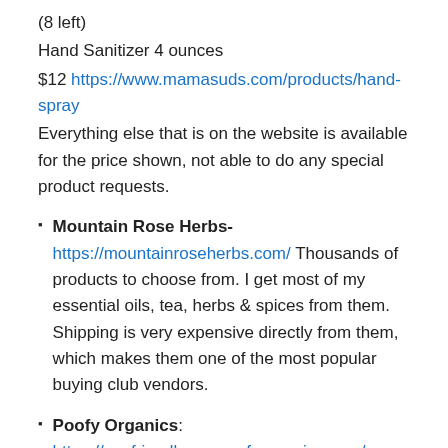(8 left)
Hand Sanitizer 4 ounces
$12 https://www.mamasuds.com/products/hand-spray
Everything else that is on the website is available for the price shown, not able to do any special product requests.
Mountain Rose Herbs- https://mountainroseherbs.com/ Thousands of products to choose from. I get most of my essential oils, tea, herbs & spices from them. Shipping is very expensive directly from them, which makes them one of the most popular buying club vendors.
Poofy Organics: https://ecofriendlyusa.poofyorganics.com/. Offering a sample of both the new So Brilliant Eye Serum ($3),